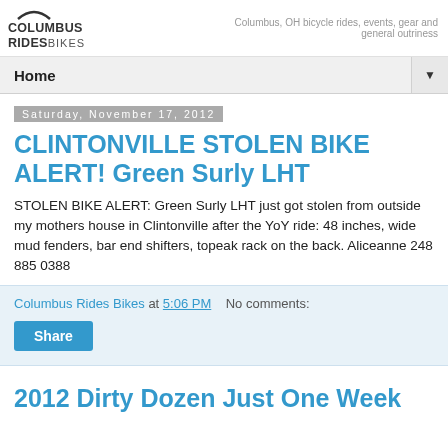COLUMBUS RIDES BIKES — Columbus, OH bicycle rides, events, gear and general outriness
Home
Saturday, November 17, 2012
CLINTONVILLE STOLEN BIKE ALERT! Green Surly LHT
STOLEN BIKE ALERT: Green Surly LHT just got stolen from outside my mothers house in Clintonville after the YoY ride: 48 inches, wide mud fenders, bar end shifters, topeak rack on the back. Aliceanne 248 885 0388
Columbus Rides Bikes at 5:06 PM    No comments:
Share
2012 Dirty Dozen Just One Week